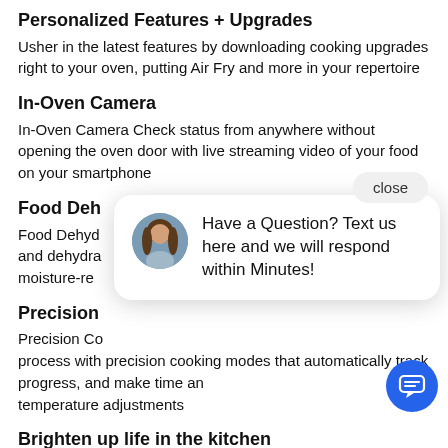Personalized Features + Upgrades
Usher in the latest features by downloading cooking upgrades right to your oven, putting Air Fry and more in your repertoire
In-Oven Camera
In-Oven Camera Check status from anywhere without opening the oven door with live streaming video of your food on your smartphone
Food Dehy[drator]
Food Dehyd[rator] and dehydra[te] moisture-re[moved]
Precision [Cooking]
Precision Co[oking] process with precision cooking modes that automatically track progress, and make time and temperature adjustments
Brighten up life in the kitchen
Easily navigate settings using a stunning full color
[Figure (other): Chat widget popup with avatar of a woman and text: Have a Question? Text us here and we will respond within Minutes! A close button is visible. A blue circular chat button is at the bottom right.]